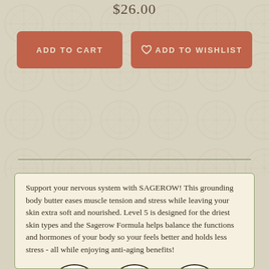$26.00
ADD TO CART
ADD TO WISHLIST
Support your nervous system with SAGEROW! This grounding body butter eases muscle tension and stress while leaving your skin extra soft and nourished. Level 5 is designed for the driest skin types and the Sagerow Formula helps balance the functions and hormones of your body so your feels better and holds less stress - all while enjoying anti-aging benefits!
[Figure (illustration): Three circular badge icons: AGES 0+ with family silhouettes, AGES 7+ with child/adult silhouettes, and a third icon with a person using a product]